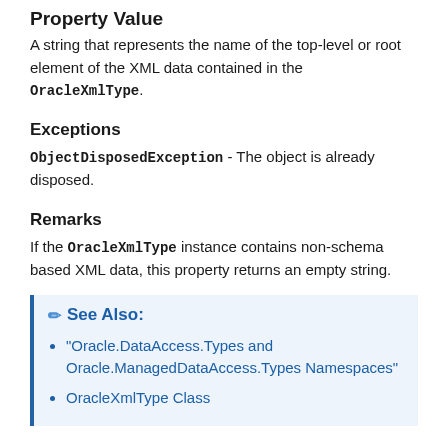Property Value
A string that represents the name of the top-level or root element of the XML data contained in the OracleXmlType.
Exceptions
ObjectDisposedException - The object is already disposed.
Remarks
If the OracleXmlType instance contains non-schema based XML data, this property returns an empty string.
See Also:
"Oracle.DataAccess.Types and Oracle.ManagedDataAccess.Types Namespaces"
OracleXmlType Class